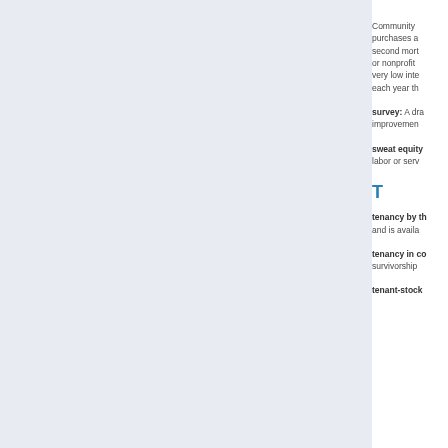Community purchases a second mort or nonprofit very low inte each year th
survey: A dra improvemen
sweat equity labor or serv
T
tenancy by th and is availa
tenancy in co survivorship
tenant-stock